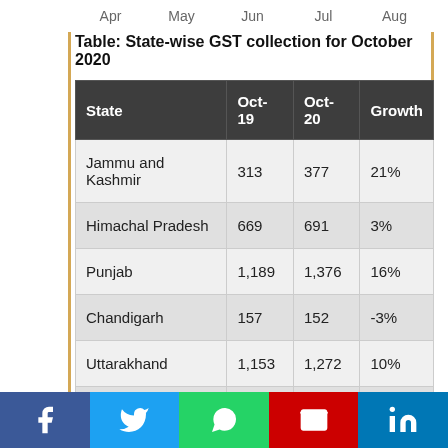Apr   May   Jun   Jul   Aug
Table: State-wise GST collection for October 2020
| State | Oct-19 | Oct-20 | Growth |
| --- | --- | --- | --- |
| Jammu and Kashmir | 313 | 377 | 21% |
| Himachal Pradesh | 669 | 691 | 3% |
| Punjab | 1,189 | 1,376 | 16% |
| Chandigarh | 157 | 152 | -3% |
| Uttarakhand | 1,153 | 1,272 | 10% |
| Haryana | 4,578 | 5,433 | 19% |